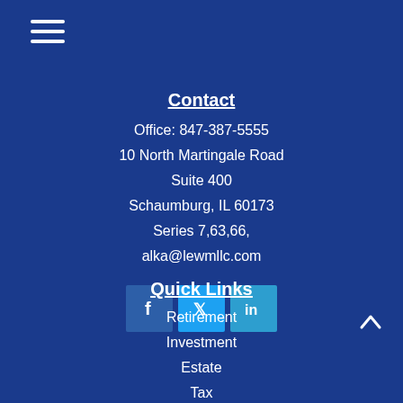[Figure (other): Hamburger menu icon with three horizontal white lines]
Contact
Office: 847-387-5555
10 North Martingale Road
Suite 400
Schaumburg, IL 60173
Series 7,63,66,
alka@lewmllc.com
[Figure (other): Social media icons: Facebook (f), Twitter (bird/t), LinkedIn (in)]
Quick Links
Retirement
Investment
Estate
Tax
Money
Lifestyle
All Articles